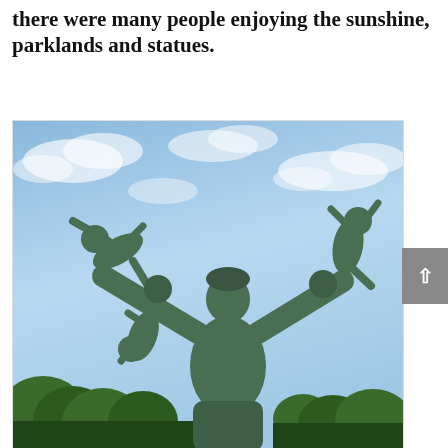there were many people enjoying the sunshine, parklands and statues.
[Figure (photo): A bronze sculpture of a man holding multiple children in the air, photographed from below against a blue cloudy sky, with green trees visible at the base. Vigeland sculpture park style statue.]